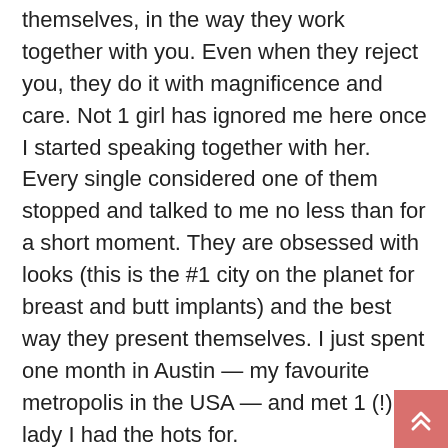themselves, in the way they work together with you. Even when they reject you, they do it with magnificence and care. Not 1 girl has ignored me here once I started speaking together with her. Every single considered one of them stopped and talked to me no less than for a short moment. They are obsessed with looks (this is the #1 city on the planet for breast and butt implants) and the best way they present themselves. I just spent one month in Austin — my favourite metropolis in the USA — and met 1 (!) lady I had the hots for.
Chances are, you'll both have to make some compromises and cultural changes. — This is after all of the country of magical realism. It has proven much harder for me to understand the place a lady is at, to get a top of her. If you're now not thinking about